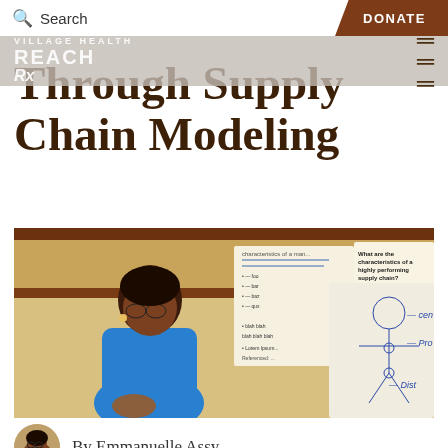Search | DONATE
Through Supply Chain Modeling
[Figure (photo): A woman in a blue top stands in front of a whiteboard/flip chart showing supply chain diagrams including a stick figure diagram with labels cen-, Pro-, Dist-. Other posted papers on wall behind her with handwritten notes.]
By Emmanuelle Assy